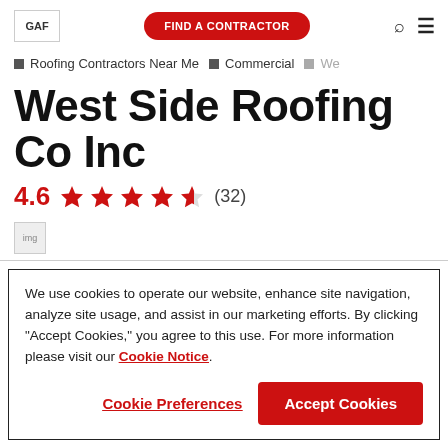GAF | FIND A CONTRACTOR
Roofing Contractors Near Me
Commercial
We
West Side Roofing Co Inc
4.6 ★★★★½ (32)
[Figure (logo): Small badge/logo image]
We use cookies to operate our website, enhance site navigation, analyze site usage, and assist in our marketing efforts. By clicking "Accept Cookies," you agree to this use. For more information please visit our Cookie Notice.
Cookie Preferences | Accept Cookies